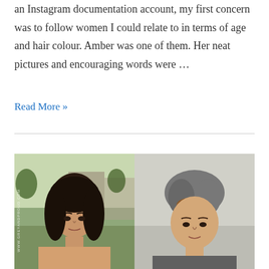an Instagram documentation account, my first concern was to follow women I could relate to in terms of age and hair colour. Amber was one of them. Her neat pictures and encouraging words were …
Read More »
[Figure (photo): Side-by-side before-and-after photos of a woman: left photo shows her with long dark hair outdoors, right photo shows her with short silver/gray hair indoors]